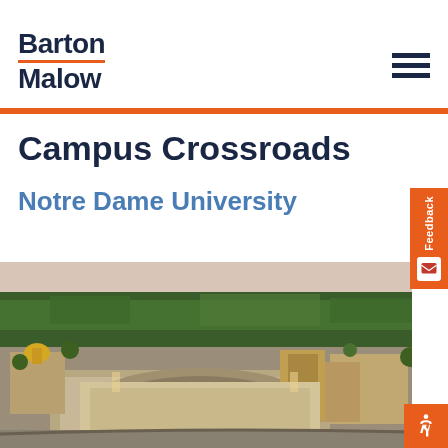Barton Malow
Campus Crossroads
Notre Dame University
[Figure (photo): Aerial photograph of the University of Notre Dame campus showing the football stadium, golden dome, and surrounding buildings and trees]